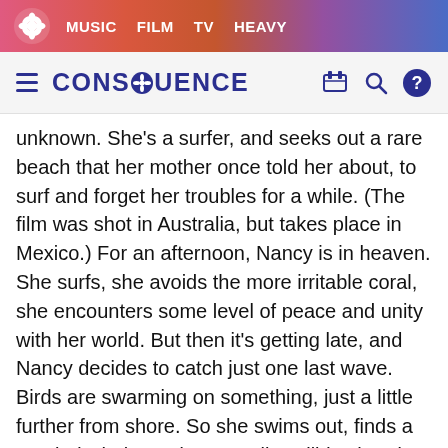MUSIC  FILM  TV  HEAVY
CONSEQUENCE
unknown. She's a surfer, and seeks out a rare beach that her mother once told her about, to surf and forget her troubles for a while. (The film was shot in Australia, but takes place in Mexico.) For an afternoon, Nancy is in heaven. She surfs, she avoids the more irritable coral, she encounters some level of peace and unity with her world. But then it's getting late, and Nancy decides to catch just one last wave. Birds are swarming on something, just a little further from shore. So she swims out, finds a mauled whale, and eventually collides head-on with a massive great white shark.
Advertisement
The early minutes of The Shallows suggest a slower-burning film, with the tension mounting